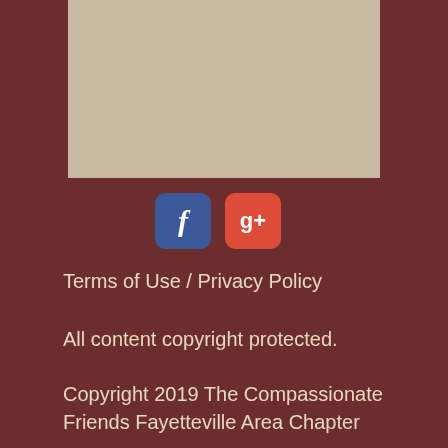[Figure (photo): Beige/tan colored image placeholder area at the top of the page]
[Figure (logo): Facebook and Google+ social media icons side by side]
Terms of Use / Privacy Policy
All content copyright protected.
Copyright 2019 The Compassionate Friends Fayetteville Area Chapter